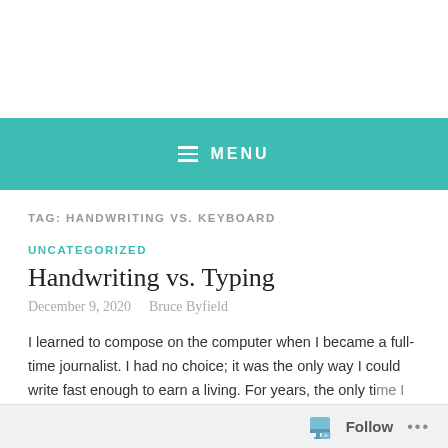MENU
TAG: HANDWRITING VS. KEYBOARD
UNCATEGORIZED
Handwriting vs. Typing
December 9, 2020   Bruce Byfield
I learned to compose on the computer when I became a full-time journalist. I had no choice; it was the only way I could write fast enough to earn a living. For years, the only ti...
Follow ...